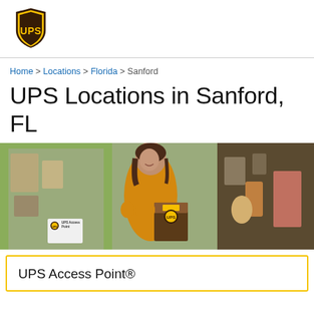[Figure (logo): UPS shield logo — brown shield with yellow UPS lettering]
Home > Locations > Florida > Sanford
UPS Locations in Sanford, FL
[Figure (photo): Woman in yellow turtleneck sweater holding a UPS package, standing in front of a shop window displaying antiques]
UPS Access Point®